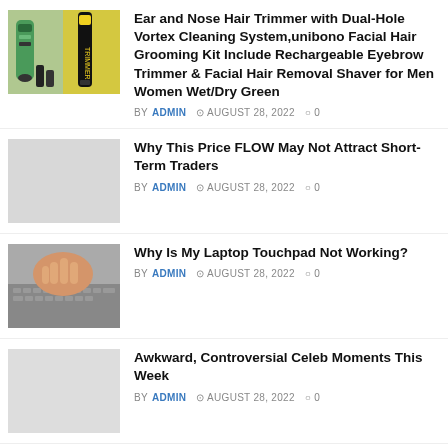[Figure (photo): Photo of ear and nose hair trimmer products including green trimmer and black trimmer on yellow background]
Ear and Nose Hair Trimmer with Dual-Hole Vortex Cleaning System,unibono Facial Hair Grooming Kit Include Rechargeable Eyebrow Trimmer & Facial Hair Removal Shaver for Men Women Wet/Dry Green
BY ADMIN  AUGUST 28, 2022  0
[Figure (photo): Placeholder grey image for article about FLOW price]
Why This Price FLOW May Not Attract Short-Term Traders
BY ADMIN  AUGUST 28, 2022  0
[Figure (photo): Photo of a hand using a laptop touchpad]
Why Is My Laptop Touchpad Not Working?
BY ADMIN  AUGUST 28, 2022  0
[Figure (photo): Placeholder grey image for celebrity moments article]
Awkward, Controversial Celeb Moments This Week
BY ADMIN  AUGUST 28, 2022  0
[Figure (photo): Partial photo of teenage girls, appears to be black and white or dark image]
When Four Teenage Girls Surprised the Beatles in a Helicopter